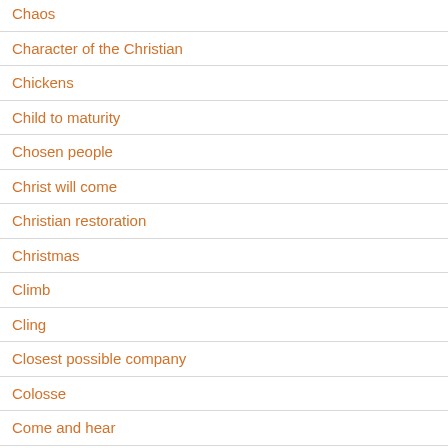Chaos
Character of the Christian
Chickens
Child to maturity
Chosen people
Christ will come
Christian restoration
Christmas
Climb
Cling
Closest possible company
Colosse
Come and hear